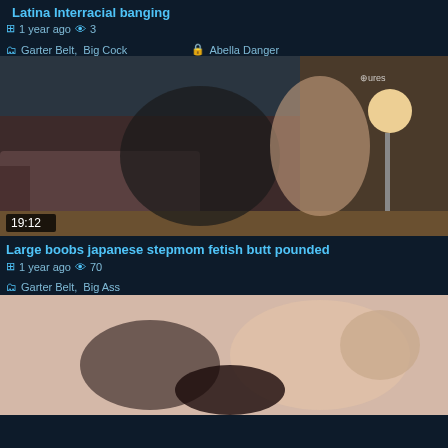Latina Interracial banging
1 year ago  3  Garter Belt, Big Cock  Abella Danger
[Figure (photo): Video thumbnail showing Japanese woman in leather outfit, duration 19:12]
Large boobs japanese stepmom fetish butt pounded
1 year ago  70  Garter Belt, Big Ass
[Figure (photo): Video thumbnail showing partial view of two people, cropped at bottom of page]